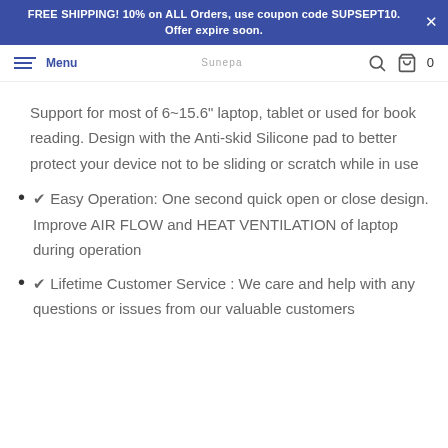FREE SHIPPING! 10% on ALL Orders, use coupon code SUPSEPT10. Offer expire soon.
Support for most of 6~15.6" laptop, tablet or used for book reading. Design with the Anti-skid Silicone pad to better protect your device not to be sliding or scratch while in use
✔ Easy Operation: One second quick open or close design. Improve AIR FLOW and HEAT VENTILATION of laptop during operation
✔ Lifetime Customer Service : We care and help with any questions or issues from our valuable customers